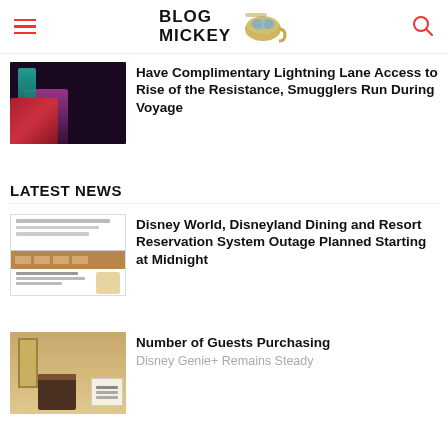Blog Mickey
[Figure (photo): Dark themed characters in red and purple costumes, Star Wars themed]
Have Complimentary Lightning Lane Access to Rise of the Resistance, Smugglers Run During Voyage
LATEST NEWS
[Figure (screenshot): Screenshot of Disney dining/reservation system website with table calendar]
Disney World, Disneyland Dining and Resort Reservation System Outage Planned Starting at Midnight
[Figure (photo): Hotel lobby with luggage cart, warm toned interior]
Number of Guests Purchasing
Disney Genie+ Remains Steady